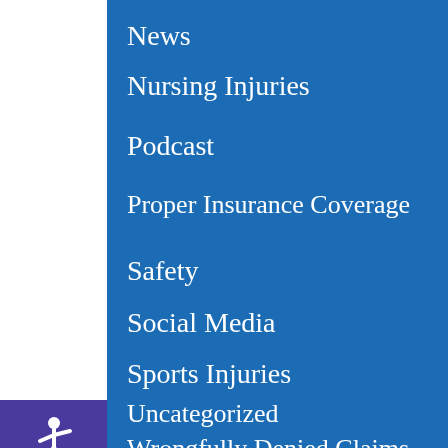News
Nursing Injuries
Podcast
Proper Insurance Coverage
Safety
Social Media
Sports Injuries
Uncategorized
Wrongfully Denied Claims
[Figure (illustration): Wheelchair accessibility icon (white) on purple/indigo background, positioned on left side panel]